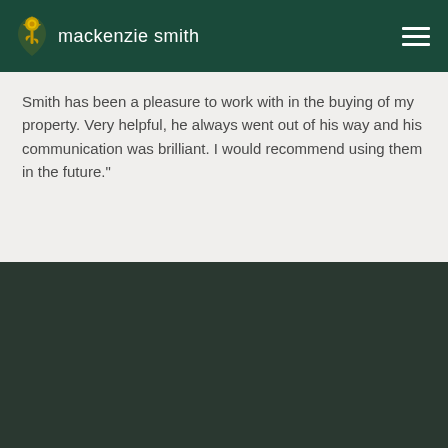mackenzie smith
Smith has been a pleasure to work with in the buying of my property. Very helpful, he always went out of his way and his communication was brilliant. I would recommend using them in the future."
[Figure (other): Dark green/teal decorative footer section]